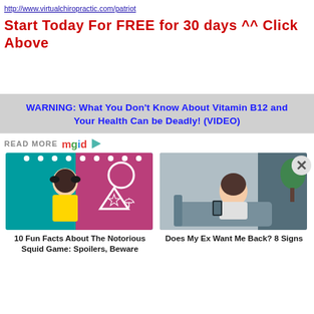http://www.virtualchiropractic.com/patriot
Start Today For FREE for 30 days ^^ Click Above
WARNING: What You Don't Know About Vitamin B12 and Your Health Can be Deadly! (VIDEO)
READ MORE mgid ▷
[Figure (photo): Squid Game animated doll character in yellow dress on colorful background with shapes]
10 Fun Facts About The Notorious Squid Game: Spoilers, Beware
[Figure (photo): Young Asian woman sitting on couch looking stressed while looking at phone]
Does My Ex Want Me Back? 8 Signs